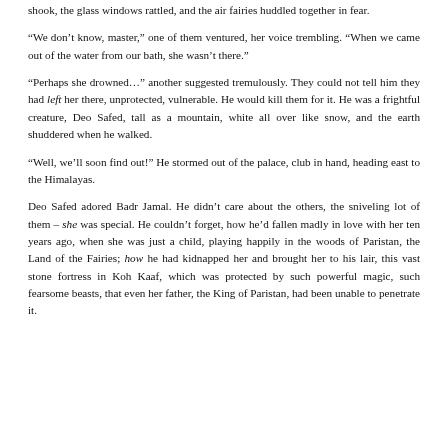shook, the glass windows rattled, and the air fairies huddled together in fear.
“We don’t know, master,” one of them ventured, her voice trembling. “When we came out of the water from our bath, she wasn’t there.”
“Perhaps she drowned…” another suggested tremulously. They could not tell him they had left her there, unprotected, vulnerable. He would kill them for it. He was a frightful creature, Deo Safed, tall as a mountain, white all over like snow, and the earth shuddered when he walked.
“Well, we’ll soon find out!” He stormed out of the palace, club in hand, heading east to the Himalayas.
Deo Safed adored Badr Jamal. He didn’t care about the others, the sniveling lot of them – she was special. He couldn’t forget, how he’d fallen madly in love with her ten years ago, when she was just a child, playing happily in the woods of Paristan, the Land of the Fairies; how he had kidnapped her and brought her to his lair, this vast stone fortress in Koh Kaaf, which was protected by such powerful magic, such fearsome beasts, that even her father, the King of Paristan, had been unable to penetrate it.